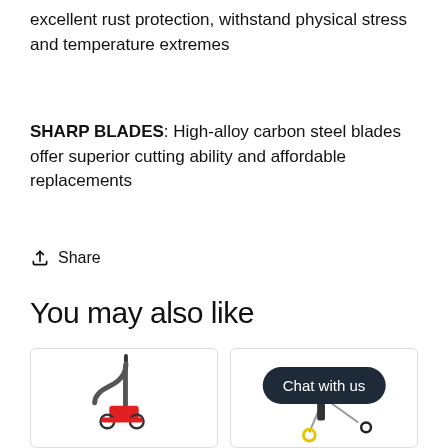excellent rust protection, withstand physical stress and temperature extremes
SHARP BLADES: High-alloy carbon steel blades offer superior cutting ability and affordable replacements
Share
You may also like
[Figure (photo): Two product cards side by side: left card shows a wheeled tool/device with a curved handle in gray and red; right card shows a device with yellow and black parts, overlaid with a dark rounded 'Chat with us' button]